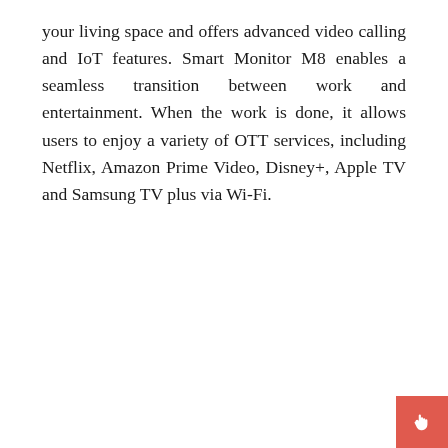your living space and offers advanced video calling and IoT features. Smart Monitor M8 enables a seamless transition between work and entertainment. When the work is done, it allows users to enjoy a variety of OTT services, including Netflix, Amazon Prime Video, Disney+, Apple TV and Samsung TV plus via Wi-Fi.